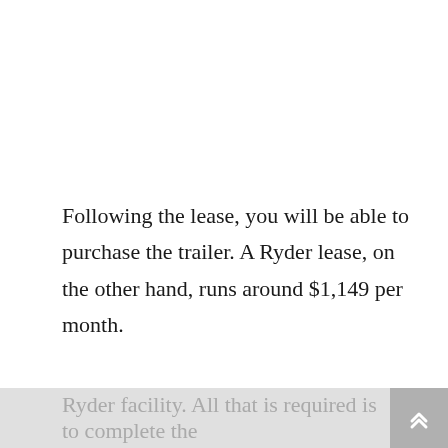Following the lease, you will be able to purchase the trailer. A Ryder lease, on the other hand, runs around $1,149 per month.

You can also rent a dry van trailer from Ryder by making an online reservation or visiting your local
Ryder facility. All that is required is to complete the